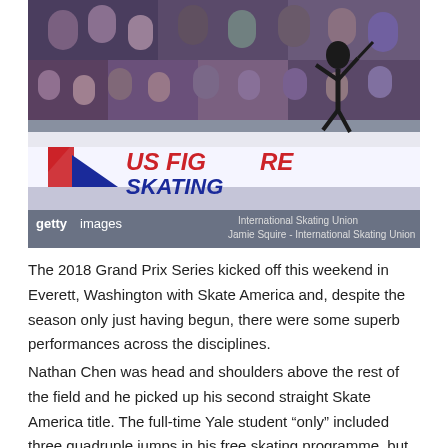[Figure (photo): A figure skater performing a jump at a US Figure Skating event, with a crowd in the background and the US Figure Skating logo visible on the rink barrier. Getty Images credit bar at bottom reading 'International Skating Union / Jamie Squire - International Skating Union'.]
The 2018 Grand Prix Series kicked off this weekend in Everett, Washington with Skate America and, despite the season only just having begun, there were some superb performances across the disciplines.
Nathan Chen was head and shoulders above the rest of the field and he picked up his second straight Skate America title. The full-time Yale student “only” included three quadruple jumps in his free skating programme, but he romped home to gold by over 40 points. Michal